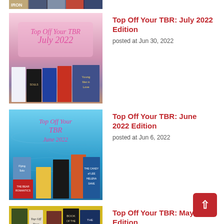[Figure (photo): Partial top strip showing book covers (Iron and others) cropped at top of page]
[Figure (photo): Top Off Your TBR July 2022 Edition blog post thumbnail with pink gradient background and book covers]
Top Off Your TBR: July 2022 Edition
posted at Jun 30, 2022
[Figure (photo): Top Off Your TBR June 2022 Edition blog post thumbnail with blue pool water background and book covers]
Top Off Your TBR: June 2022 Edition
posted at Jun 6, 2022
[Figure (photo): Top Off Your TBR May 2022 Edition blog post thumbnail with yellow background and book covers]
Top Off Your TBR: May 2022 Edition